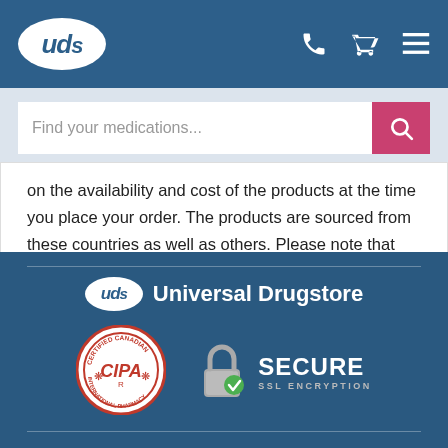[Figure (logo): UDS (Universal Drugstore) logo in white oval on blue header, with phone, cart, and hamburger menu icons]
[Figure (screenshot): Search bar with placeholder text 'Find your medications...' and pink search button]
on the availability and cost of the products at the time you place your order. The products are sourced from these countries as well as others. Please note that the product appearance may vary from actual product received depending on availability.
[Figure (logo): Footer with UDS Universal Drugstore logo, CIPA certified Canadian International Pharmacy badge, and Secure SSL Encryption badge]